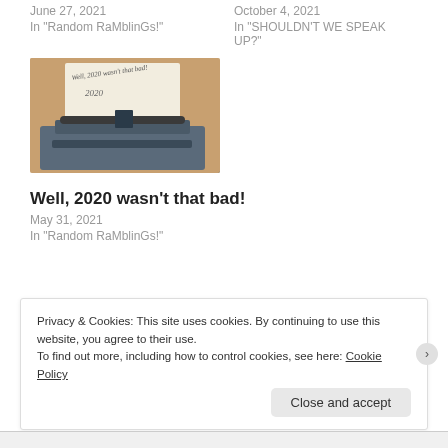June 27, 2021
In "Random RaMblinGs!"
October 4, 2021
In "SHOULDN'T WE SPEAK UP?"
[Figure (photo): A vintage typewriter with a piece of paper inserted, writing 'Well, 2020 wasn't that bad!' with '2020' visible on the paper. Warm orange/brown tones.]
Well, 2020 wasn't that bad!
May 31, 2021
In "Random RaMblinGs!"
Privacy & Cookies: This site uses cookies. By continuing to use this website, you agree to their use.
To find out more, including how to control cookies, see here: Cookie Policy